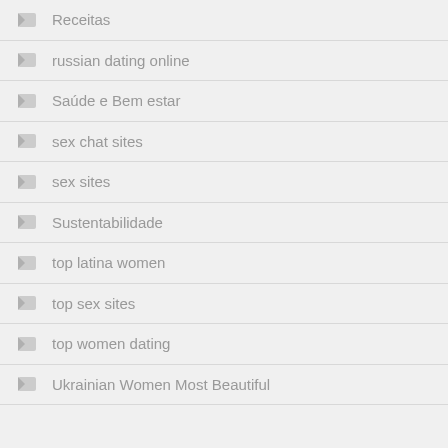Receitas
russian dating online
Saúde e Bem estar
sex chat sites
sex sites
Sustentabilidade
top latina women
top sex sites
top women dating
Ukrainian Women Most Beautiful